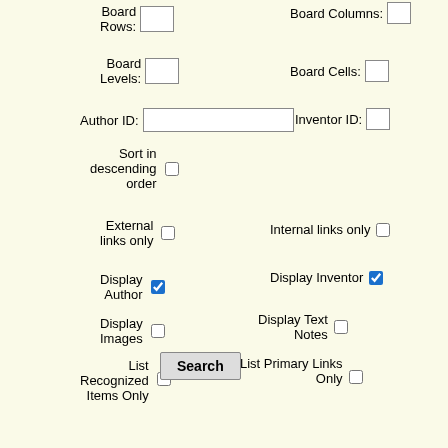Board Rows:
Board Columns:
Board Levels:
Board Cells:
Author ID:
Inventor ID:
Sort in descending order
External links only
Internal links only
Display Author
Display Inventor
Display Images
Display Text Notes
List Recognized Items Only
List Primary Links Only
Search